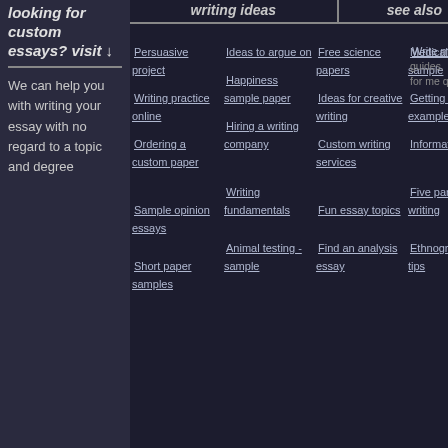looking for custom essays? visit ↓
We can help you with writing your essay with no regard to a topic and degree
writing ideas | see also
Persuasive project
Ideas to argue on
Free science papers
Medical paper sample
Write my essay
Writing practice online
Happiness sample paper
Ideas for creative writing
Getting essay examples
Ordering a custom paper
Hiring a writing company
Custom writing services
Informative papers
Sample opinion essays
Writing fundamentals
Fun essay topics
Five paragraph writing
Short paper samples
Animal testing - sample
Find an analysis essay
Ethnographic paper tips